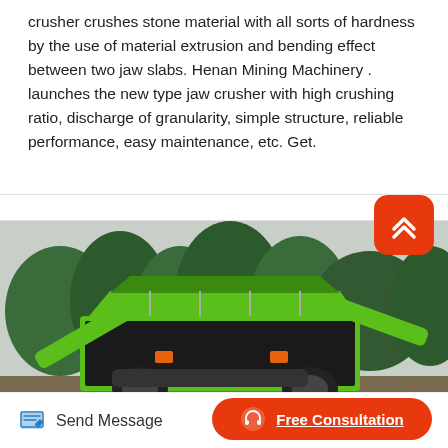crusher crushes stone material with all sorts of hardness by the use of material extrusion and bending effect between two jaw slabs. Henan Mining Machinery . launches the new type jaw crusher with high crushing ratio, discharge of granularity, simple structure, reliable performance, easy maintenance, etc. Get.
[Figure (photo): A green and black mobile jaw crusher machine photographed outdoors at a quarry/mining site with trees in the background.]